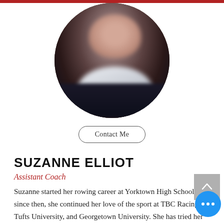[Figure (photo): Circular cropped profile photo of Suzanne Elliot, blurred, showing a person with dark background]
Contact Me
SUZANNE ELLIOT
Assistant Coach
Suzanne started her rowing career at Yorktown High School; since then, she continued her love of the sport at TBC Racing, Tufts University, and Georgetown University. She has tried her hand at sweep, sculling, coxing, and